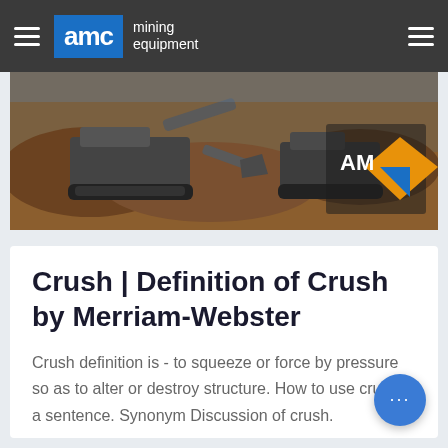AMC mining equipment
[Figure (photo): Mining equipment on a job site with earthmoving machinery and an AMC logo visible in the background]
Crush | Definition of Crush by Merriam-Webster
Crush definition is - to squeeze or force by pressure so as to alter or destroy structure. How to use crush in a sentence. Synonym Discussion of crush.